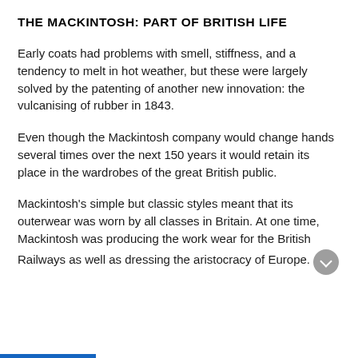THE MACKINTOSH: PART OF BRITISH LIFE
Early coats had problems with smell, stiffness, and a tendency to melt in hot weather, but these were largely solved by the patenting of another new innovation: the vulcanising of rubber in 1843.
Even though the Mackintosh company would change hands several times over the next 150 years it would retain its place in the wardrobes of the great British public.
Mackintosh's simple but classic styles meant that its outerwear was worn by all classes in Britain. At one time, Mackintosh was producing the work wear for the British Railways as well as dressing the aristocracy of Europe.